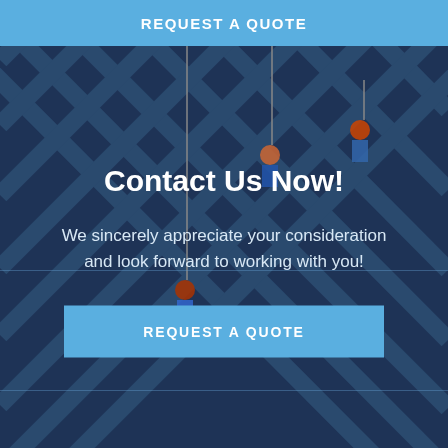REQUEST A QUOTE
[Figure (photo): Workers rappelling on the exterior glass grid facade of a tall building, dark navy blue tinted background photo]
Contact Us Now!
We sincerely appreciate your consideration and look forward to working with you!
REQUEST A QUOTE